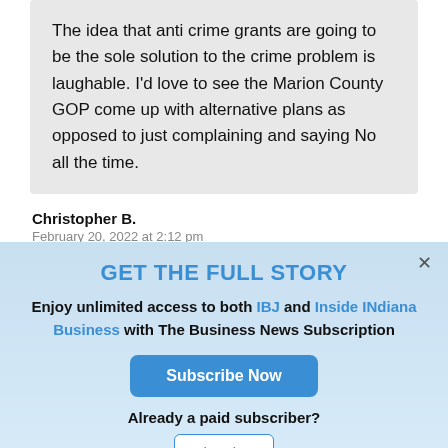The idea that anti crime grants are going to be the sole solution to the crime problem is laughable. I'd love to see the Marion County GOP come up with alternative plans as opposed to just complaining and saying No all the time.
Christopher B.
February 20, 2022 at 2:12 pm
GET THE FULL STORY
Enjoy unlimited access to both IBJ and Inside INdiana Business with The Business News Subscription
Subscribe Now
Already a paid subscriber?
Log In